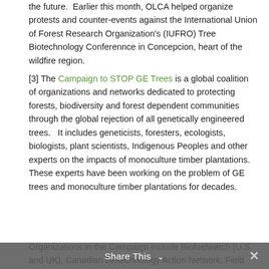the future.  Earlier this month, OLCA helped organize protests and counter-events against the International Union of Forest Research Organization's (IUFRO) Tree Biotechnology Conferennce in Concepcion, heart of the wildfire region.
[3] The Campaign to STOP GE Trees is a global coalition of organizations and networks dedicated to protecting forests, biodiversity and forest dependent communities through the global rejection of all genetically engineered trees.   It includes geneticists, foresters, ecologists, biologists, plant scientists, Indigenous Peoples and other experts on the impacts of monoculture timber plantations. These experts have been working on the problem of GE trees and monoculture timber plantations for decades.
Organizations in the Campaign include Biofuelwatch (U.S. and UK), Canadian Biotechnology Action Network, Field Liberation Movement (Belgium),
Share This ×